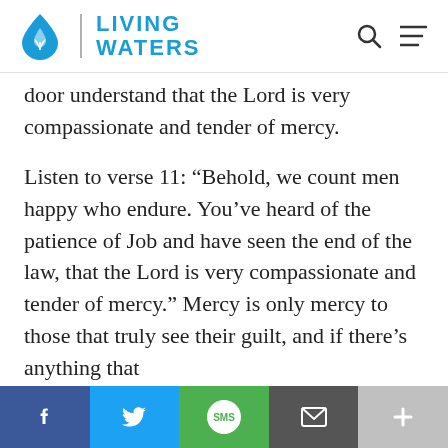[Figure (logo): Living Waters logo with blue water drop icon and blue text LIVING WATERS]
door understand that the Lord is very compassionate and tender of mercy.
Listen to verse 11: “Behold, we count men happy who endure. You’ve heard of the patience of Job and have seen the end of the law, that the Lord is very compassionate and tender of mercy.” Mercy is only mercy to those that truly see their guilt, and if there’s anything that